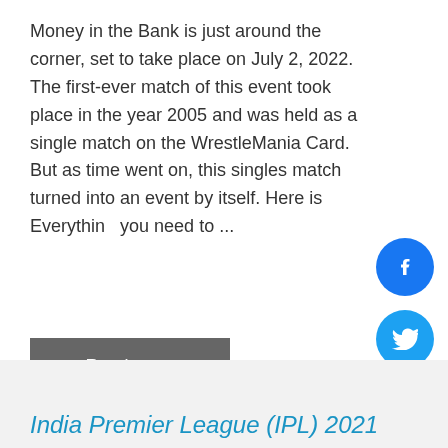Money in the Bank is just around the corner, set to take place on July 2, 2022. The first-ever match of this event took place in the year 2005 and was held as a single match on the WrestleMania Card. But as time went on, this singles match turned into an event by itself. Here is Everything you need to ...
Read more
WWE
India Premier League (IPL) 2021